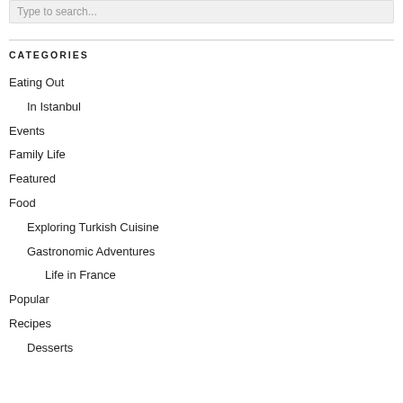Type to search...
CATEGORIES
Eating Out
In Istanbul
Events
Family Life
Featured
Food
Exploring Turkish Cuisine
Gastronomic Adventures
Life in France
Popular
Recipes
Desserts